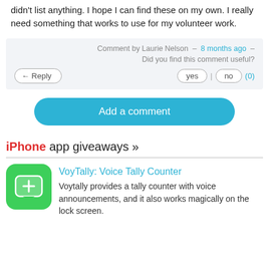didn't list anything. I hope I can find these on my own. I really need something that works to use for my volunteer work.
Comment by Laurie Nelson – 8 months ago – Did you find this comment useful? yes | no (0)
Add a comment
iPhone app giveaways »
VoyTally: Voice Tally Counter
Voytally provides a tally counter with voice announcements, and it also works magically on the lock screen.